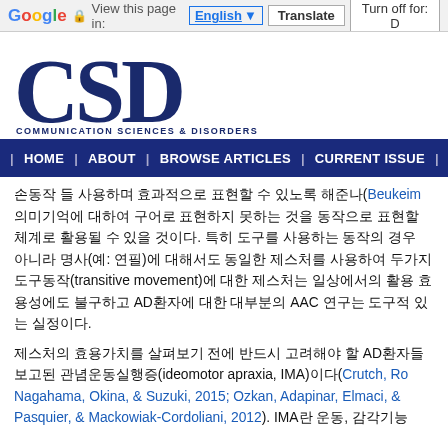Google  View this page in: English ▼  Translate  Turn off for: D
[Figure (logo): CSD - Communication Sciences & Disorders journal logo with large serif CSD letters in dark navy blue]
| HOME | ABOUT | BROWSE ARTICLES | CURRENT ISSUE | FO
손동작 들 사용하며 효과적으로 표현할 수 있노록 해준나(Beukeim 의미기억에 대하여 구어로 표현하지 못하는 것을 동작으로 표현할 체계로 활용될 수 있을 것이다. 특히 도구를 사용하는 동작의 경우 아니라 명사(예: 연필)에 대해서도 동일한 제스처를 사용하여 두가지 도구동작(transitive movement)에 대한 제스처는 일상에서의 활용 효용성에도 불구하고 AD환자에 대한 대부분의 AAC 연구는 도구적 있는 실정이다.
제스처의 효용가치를 살펴보기 전에 반드시 고려해야 할 AD환자들 보고된 관념운동실행증(ideomotor apraxia, IMA)이다(Crutch, Ro Nagahama, Okina, & Suzuki, 2015; Ozkan, Adapinar, Elmaci, & Pasquier, & Mackowiak-Cordoliani, 2012). IMA란 운동, 감각기능